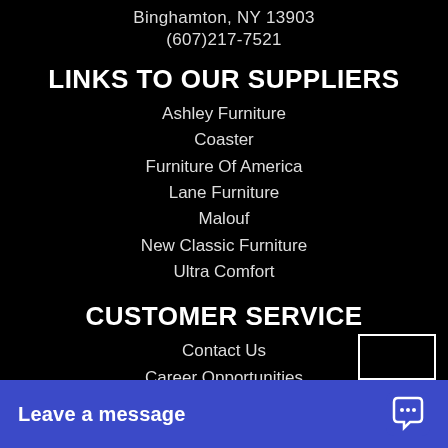Binghamton, NY 13903
(607)217-7521
LINKS TO OUR SUPPLIERS
Ashley Furniture
Coaster
Furniture Of America
Lane Furniture
Malouf
New Classic Furniture
Ultra Comfort
CUSTOMER SERVICE
Contact Us
Career Opportunities
Claims
Financing Application
My Account
Financing
Te...
Leave a message